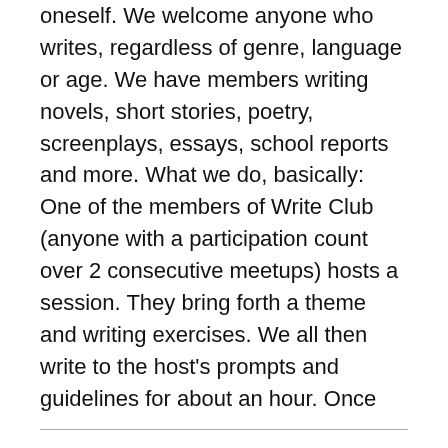oneself. We welcome anyone who writes, regardless of genre, language or age. We have members writing novels, short stories, poetry, screenplays, essays, school reports and more. What we do, basically: One of the members of Write Club (anyone with a participation count over 2 consecutive meetups) hosts a session. They bring forth a theme and writing exercises. We all then write to the host's prompts and guidelines for about an hour. Once we're done writing, we read out our write-ups (optional). We also exchange feedback and constructively critique each other's works. Entry is free, anyone with an interest in writing can walk in. Bring your writing devices and we're all set! We promise to provide you with good coffee and a super-creative conversation. We have Write Club sessions every Saturday afternoon – 3 to 6 PM